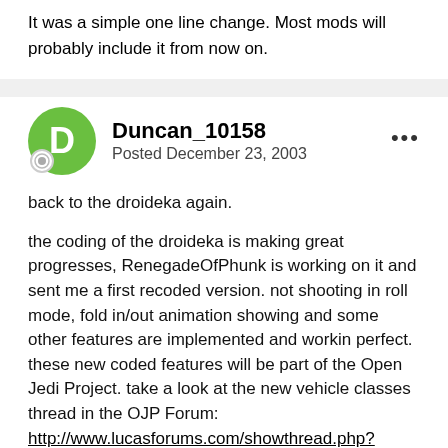It was a simple one line change. Most mods will probably include it from now on.
Duncan_10158
Posted December 23, 2003
back to the droideka again.

the coding of the droideka is making great progresses, RenegadeOfPhunk is working on it and sent me a first recoded version. not shooting in roll mode, fold in/out animation showing and some other features are implemented and workin perfect. these new coded features will be part of the Open Jedi Project. take a look at the new vehicle classes thread in the OJP Forum:
http://www.lucasforums.com/showthread.php?s=&threadid=119505&perpage=40&pagenumber=1

as everybody knows, i am not that good at skinning and the